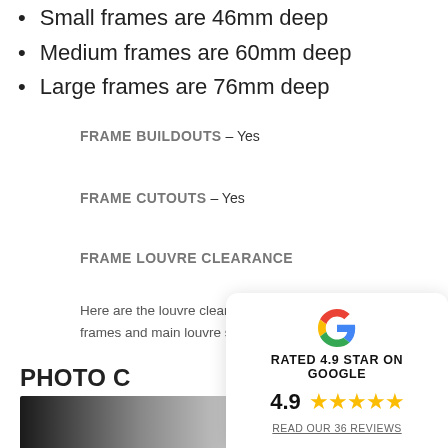Small frames are 46mm deep
Medium frames are 60mm deep
Large frames are 76mm deep
FRAME BUILDOUTS – Yes
FRAME CUTOUTS – Yes
FRAME LOUVRE CLEARANCE
Here are the louvre clearance sizes for the different frames and main louvre sizes.
PHOTO C
[Figure (infographic): Google rating popup showing 'RATED 4.9 STAR ON GOOGLE', rating 4.9 with 5 gold stars, and link 'READ OUR 36 REVIEWS']